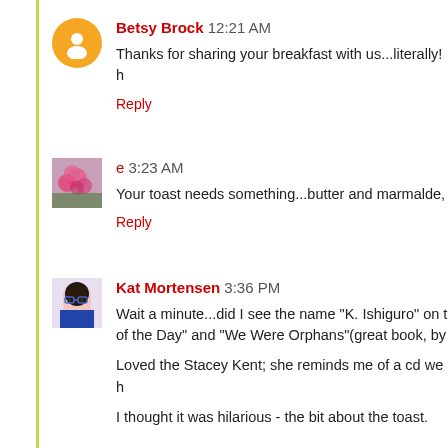Betsy Brock 12:21 AM
Thanks for sharing your breakfast with us...literally! h
Reply
e 3:23 AM
Your toast needs something...butter and marmalde,
Reply
Kat Mortensen 3:36 PM
Wait a minute...did I see the name "K. Ishiguro" on t of the Day" and "We Were Orphans"(great book, by

Loved the Stacey Kent; she reminds me of a cd we h

I thought it was hilarious - the bit about the toast.